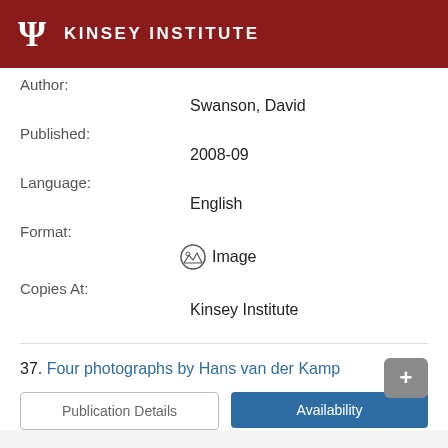KINSEY INSTITUTE
Author:
Swanson, David
Published:
2008-09
Language:
English
Format:
Image
Copies At:
Kinsey Institute
37. Four photographs by Hans van der Kamp
Publication Details
Availability